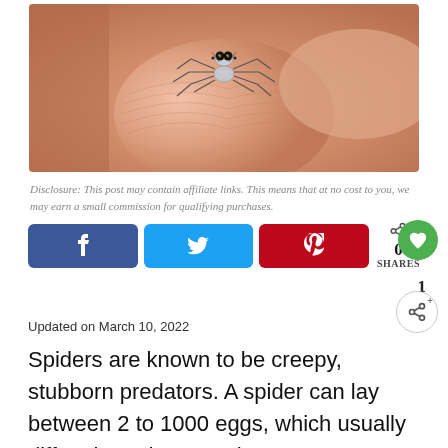[Figure (photo): Close-up photo of a tiny jumping spider with large black eyes and striped legs sitting on a human fingertip against a blurred skin background.]
Disclosure: This post may contain affiliate links. This means that at no cost to you, we may earn a small commission for qualifying purchases.
[Figure (infographic): Social share buttons row: Facebook (blue), Twitter (light blue), Pinterest (red), share count showing 0 SHARES, green heart button, like count 1, and secondary share button.]
Updated on March 10, 2022
Spiders are known to be creepy, stubborn predators. A spider can lay between 2 to 1000 eggs, which usually differs based on species.